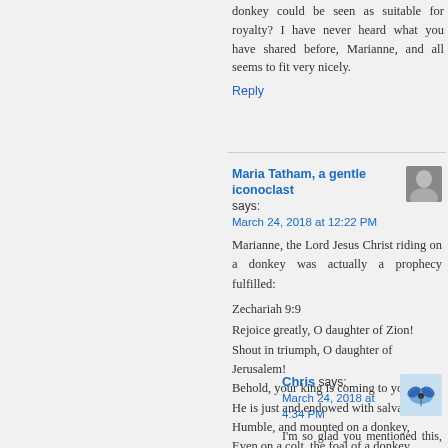donkey could be seen as suitable for royalty? I have never heard what you have shared before, Marianne, and all seems to fit very nicely.
Reply
Maria Tatham, a gentle iconoclast says:
March 24, 2018 at 12:22 PM
Marianne, the Lord Jesus Christ riding on a donkey was actually a prophecy fulfilled:
Zechariah 9:9
Rejoice greatly, O daughter of Zion!
Shout in triumph, O daughter of Jerusalem!
Behold, your king is coming to you;
He is just and endowed with salvation,
Humble, and mounted on a donkey,
Even on a colt, the foal of a donkey.
Reply
Chris says:
March 24, 2018 at 4:34 PM
I'm so glad you mentioned this, Maria, and I hope Marianne sees